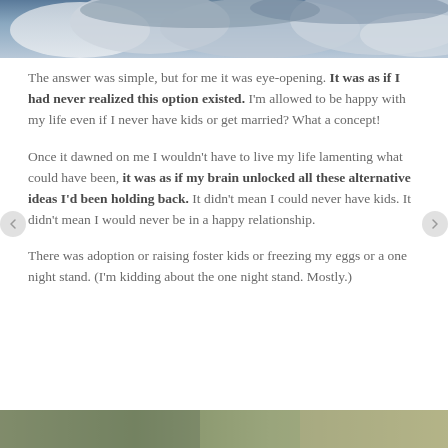[Figure (photo): Sky with dramatic clouds at the top of the page]
The answer was simple, but for me it was eye-opening. It was as if I had never realized this option existed. I'm allowed to be happy with my life even if I never have kids or get married? What a concept!
Once it dawned on me I wouldn't have to live my life lamenting what could have been, it was as if my brain unlocked all these alternative ideas I'd been holding back. It didn't mean I could never have kids. It didn't mean I would never be in a happy relationship.
There was adoption or raising foster kids or freezing my eggs or a one night stand. (I'm kidding about the one night stand. Mostly.)
[Figure (photo): Partial photo at the bottom of the page]